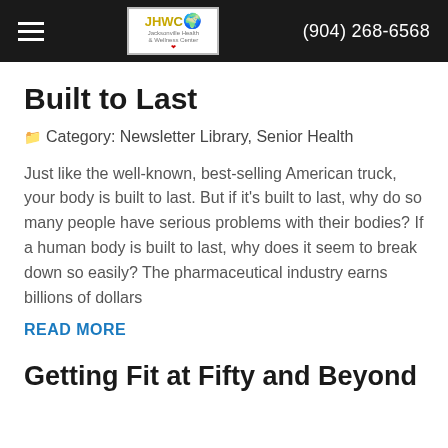JHWC (904) 268-6568
Built to Last
Category: Newsletter Library, Senior Health
Just like the well-known, best-selling American truck, your body is built to last. But if it's built to last, why do so many people have serious problems with their bodies? If a human body is built to last, why does it seem to break down so easily? The pharmaceutical industry earns billions of dollars
READ MORE
Getting Fit at Fifty and Beyond